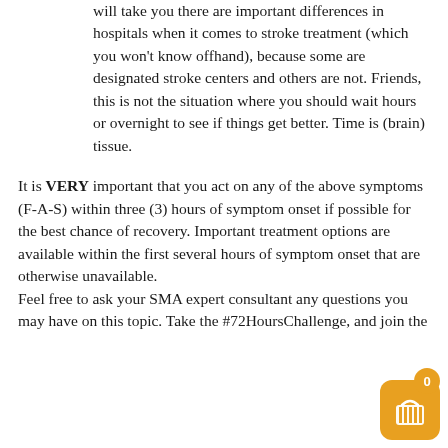will take you there are important differences in hospitals when it comes to stroke treatment (which you won't know offhand), because some are designated stroke centers and others are not. Friends, this is not the situation where you should wait hours or overnight to see if things get better. Time is (brain) tissue.
It is VERY important that you act on any of the above symptoms (F-A-S) within three (3) hours of symptom onset if possible for the best chance of recovery. Important treatment options are available within the first several hours of symptom onset that are otherwise unavailable.
Feel free to ask your SMA expert consultant any questions you may have on this topic. Take the #72HoursChallenge, and join the